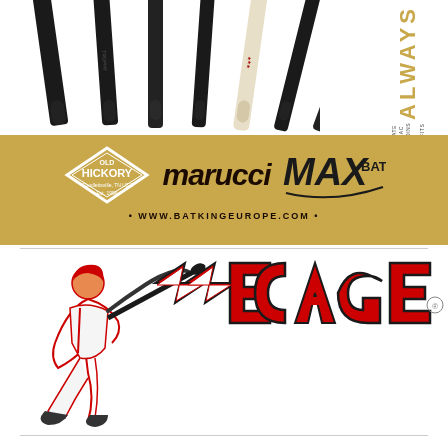[Figure (photo): Multiple baseball bats (mostly black, one white/natural) displayed vertically side by side on white background, with partial 'ALWAYS' vertical text and bullet points on right side]
[Figure (logo): Gold banner with Old Hickory, marucci, and MAX BAT logos, and website www.batkingeurope.com]
[Figure (logo): The Cage baseball logo with batter silhouette and stylized red/white text 'THE CAGE']